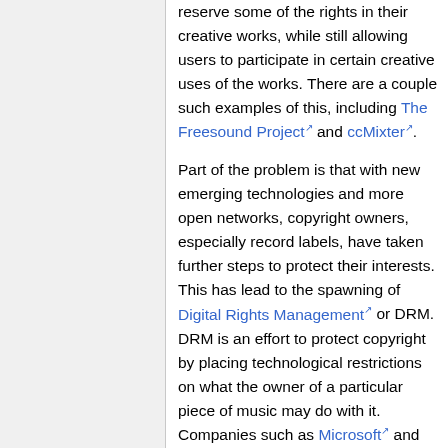reserve some of the rights in their creative works, while still allowing users to participate in certain creative uses of the works. There are a couple such examples of this, including The Freesound Project and ccMixter.
Part of the problem is that with new emerging technologies and more open networks, copyright owners, especially record labels, have taken further steps to protect their interests. This has lead to the spawning of Digital Rights Management or DRM. DRM is an effort to protect copyright by placing technological restrictions on what the owner of a particular piece of music may do with it. Companies such as Microsoft and Apple have developed new DRM tools specifically for music purchased within online stores. In the